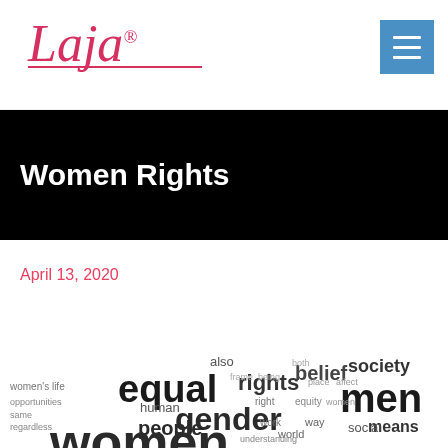[Figure (logo): Laja brand logo in pink/red cursive font with underline]
[Figure (other): Hamburger menu button, blue square with three white horizontal lines]
Women Rights
April 13, 2020
[Figure (infographic): Word cloud related to women rights featuring words: equal, rights, gender, belief, society, men, people, women, human, also, means, social, way, work, world, understanding, life, women's]